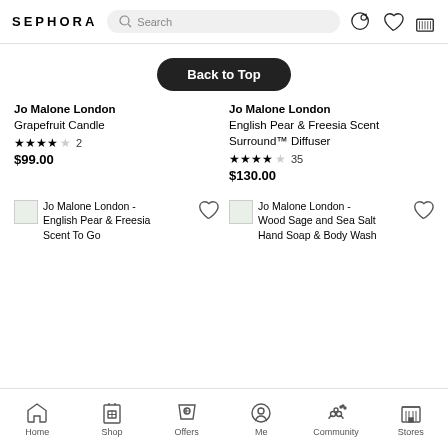SEPHORA
Back to Top
Jo Malone London
Grapefruit Candle
★★★★☆ 2
$99.00
Jo Malone London
English Pear & Freesia Scent Surround™ Diffuser
★★★★☆ 35
$130.00
[Figure (screenshot): Jo Malone London - English Pear & Freesia Scent To Go product image with heart icon]
[Figure (screenshot): Jo Malone London - Wood Sage and Sea Salt Hand Soap & Body Wash product image with heart icon]
Home  Shop  Offers  Me  Community  Stores